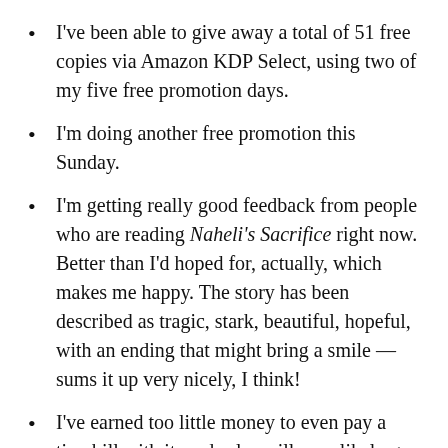I've been able to give away a total of 51 free copies via Amazon KDP Select, using two of my five free promotion days.
I'm doing another free promotion this Sunday.
I'm getting really good feedback from people who are reading Naheli's Sacrifice right now. Better than I'd hoped for, actually, which makes me happy. The story has been described as tragic, stark, beautiful, hopeful, with an ending that might bring a smile — sums it up very nicely, I think!
I've earned too little money to even pay a tiny bill with it, and sales will very likely go down next months since my friends now all have a copy. 😀 I don't mind, though. A